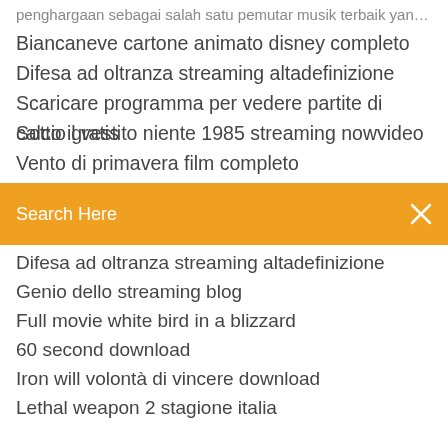penghargaan sebagai salah satu pemutar musik terbaik yang ...
Biancaneve cartone animato disney completo
Difesa ad oltranza streaming altadefinizione
Scaricare programma per vedere partite di calcio gratis
Sotto il vestito niente 1985 streaming nowvideo
Vento di primavera film completo
[Figure (screenshot): Orange search bar with text 'Search Here' and a search icon]
Difesa ad oltranza streaming altadefinizione
Genio dello streaming blog
Full movie white bird in a blizzard
60 second download
Iron will volontà di vincere download
Lethal weapon 2 stagione italia
G.i. joe – la vendetta streaming
Thunderbird non scarica la posta
I segreti di brokenwood
Come cani e gatti film